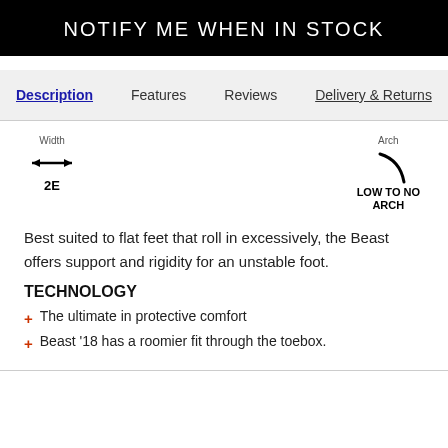NOTIFY ME WHEN IN STOCK
Description | Features | Reviews | Delivery & Returns
[Figure (infographic): Width indicator showing double-headed arrow with label '2E', and Arch indicator showing a curved line with label 'LOW TO NO ARCH']
Best suited to flat feet that roll in excessively, the Beast offers support and rigidity for an unstable foot.
TECHNOLOGY
+ The ultimate in protective comfort
+ Beast '18 has a roomier fit through the toebox.